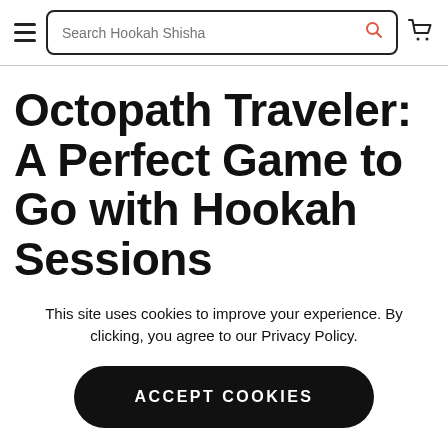Search Hookah Shisha
Octopath Traveler: A Perfect Game to Go with Hookah Sessions
This site uses cookies to improve your experience. By clicking, you agree to our Privacy Policy.
ACCEPT COOKIES